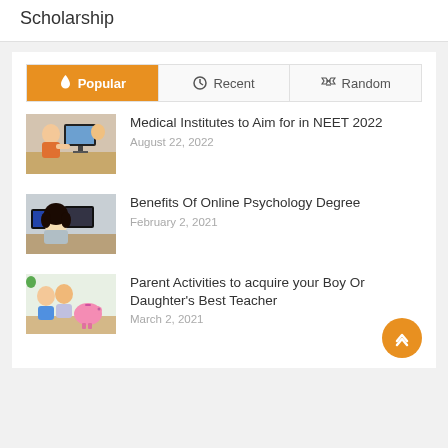Scholarship
Popular | Recent | Random
[Figure (photo): Woman sitting at a desk looking at a computer monitor with another person]
Medical Institutes to Aim for in NEET 2022
August 22, 2022
[Figure (photo): Person with dark curly hair sitting at a desk with computer screens in background]
Benefits Of Online Psychology Degree
February 2, 2021
[Figure (photo): Family with children smiling and counting coins into a piggy bank]
Parent Activities to acquire your Boy Or Daughter's Best Teacher
March 2, 2021